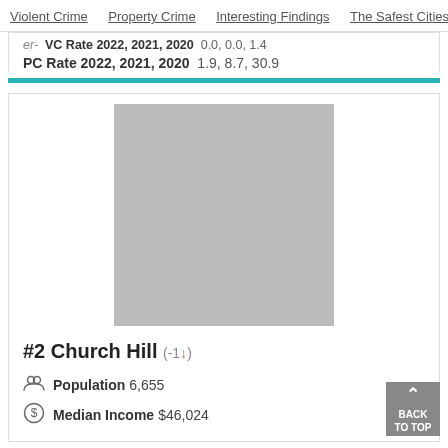Violent Crime   Property Crime   Interesting Findings   The Safest Cities   M
VC Rate 2022, 2021, 2020  0.0, 0.0, 1.4
PC Rate 2022, 2021, 2020  1.9, 8.7, 30.9
[Figure (photo): Gray placeholder image for Church Hill city photo]
#2 Church Hill (-1↓)
Population 6,655
Median Income $46,024